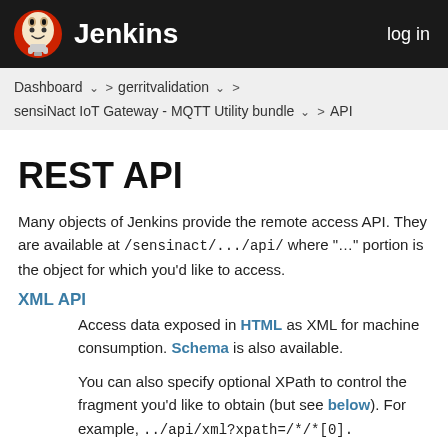Jenkins | log in
Dashboard > gerritvalidation > sensiNact IoT Gateway - MQTT Utility bundle > API
REST API
Many objects of Jenkins provide the remote access API. They are available at /sensinact/.../api/ where "..." portion is the object for which you'd like to access.
XML API
Access data exposed in HTML as XML for machine consumption. Schema is also available.
You can also specify optional XPath to control the fragment you'd like to obtain (but see below). For example, ../api/xml?xpath=/*/*[0].